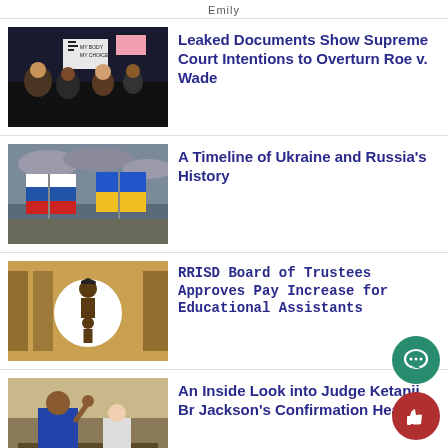Emily
[Figure (photo): Protesters holding signs including 'MY BODY MY CHOICE' at an abortion rights rally]
Leaked Documents Show Supreme Court Intentions to Overturn Roe v. Wade
[Figure (photo): Russian and Ukrainian flags side by side against cloudy sky]
A Timeline of Ukraine and Russia's History
[Figure (photo): Icon of adult and child with graduation cap on a golden background]
RRISD Board of Trustees Approves Pay Increase for Educational Assistants
[Figure (photo): Judge Ketanji Brown Jackson at confirmation hearings, raising her right hand]
An Inside Look into Judge Ketanji Brown Jackson's Confirmation Hearings